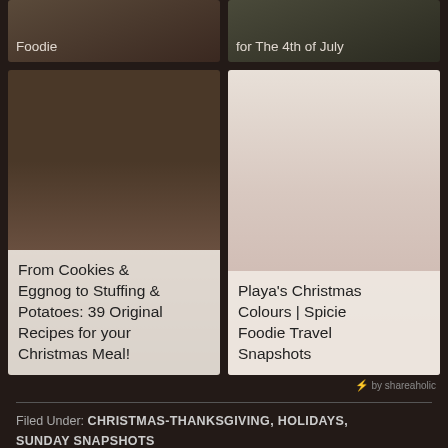[Figure (photo): Partial top-left image card with text 'Foodie']
[Figure (photo): Partial top-right image card with text 'for The 4th of July']
[Figure (photo): Food image card: From Cookies & Eggnog to Stuffing & Potatoes: 39 Original Recipes for your Christmas Meal!]
[Figure (photo): Christmas ornament image card: Playa’s Christmas Colours | Spicie Foodie Travel Snapshots]
⚡ by shareaholic
Filed Under: CHRISTMAS-THANKSGIVING, HOLIDAYS, SUNDAY SNAPSHOTS
« Bagel Stuffing, Curry Goose Pot Pie, And Horrible Photos
The Best of Spicie Foodie: 2011 Edition »